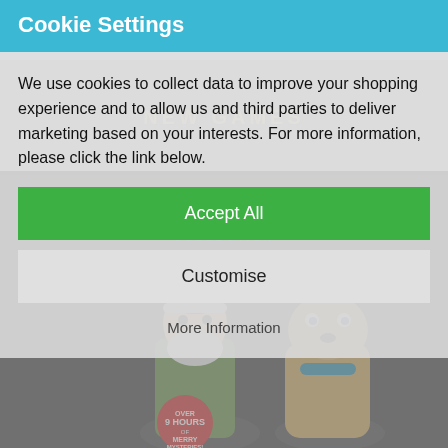Cookie Settings
We use cookies to collect data to improve your shopping experience and to allow us and third parties to deliver marketing based on your interests. For more information, please click the link below.
Accept All
Customise
More Information
[Figure (screenshot): Background showing a retail website (nrgameshop.com) with a Scooby-Doo DVD Christmas Collection product page partially visible behind a cookie consent modal overlay. The bottom portion shows Scooby-Doo and Shaggy dressed as Santa, with 'Over 9 Hours of Merry Mysteries' badge.]